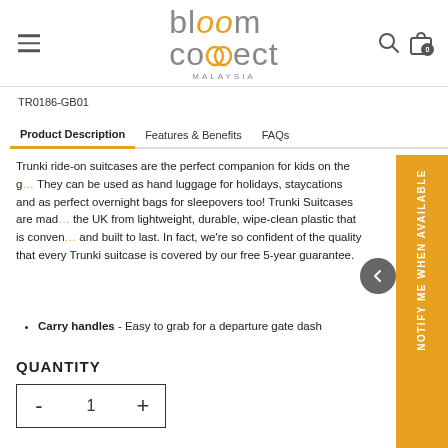bloom connect MALAYSIA
TR0186-GB01
Product Description | Features & Benefits | FAQs
Trunki ride-on suitcases are the perfect companion for kids on the g... They can be used as hand luggage for holidays, staycations and as perfect overnight bags for sleepovers too! Trunki Suitcases are made the UK from lightweight, durable, wipe-clean plastic that is conven... and built to last. In fact, we're so confident of the quality that every Trunki suitcase is covered by our free 5-year guarantee.
Carry handles - Easy to grab for a departure gate dash
QUANTITY
- 1 +